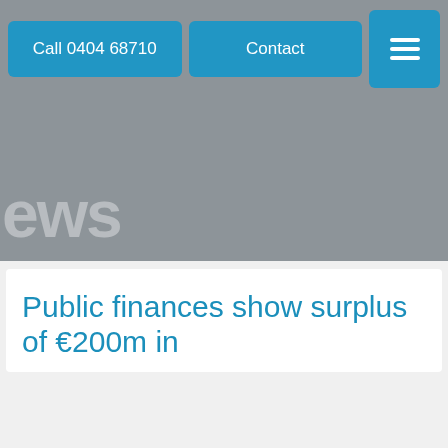Call 0404 68710  |  Contact  |  ☰
[Figure (screenshot): Grey hero banner area with partially visible large white text reading 'ews' (part of 'News')]
Public finances show surplus of €200m in